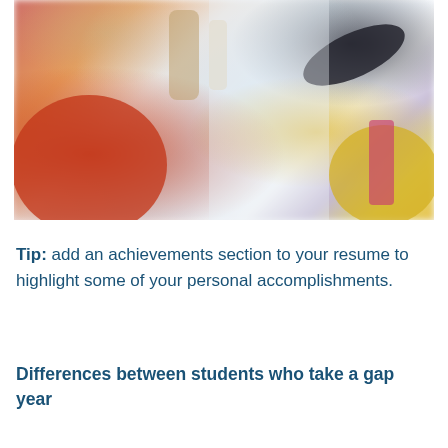[Figure (photo): Blurred close-up photo of various objects on a desk or table, including what appears to be a red/orange spherical object, tan/beige items, a dark object in the upper right, and colorful items on the right side (pink and yellow), with a light/white background.]
Tip: add an achievements section to your resume to highlight some of your personal accomplishments.
Differences between students who take a gap year